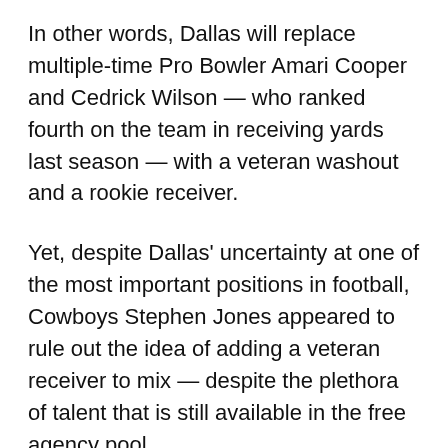In other words, Dallas will replace multiple-time Pro Bowler Amari Cooper and Cedrick Wilson — who ranked fourth on the team in receiving yards last season — with a veteran washout and a rookie receiver.
Yet, despite Dallas' uncertainty at one of the most important positions in football, Cowboys Stephen Jones appeared to rule out the idea of adding a veteran receiver to mix — despite the plethora of talent that is still available in the free agency pool.
Jones stated the following just prior to the NFL draft in April.